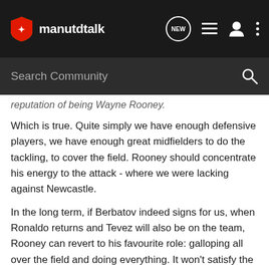manutdtalk — navigation bar with logo, NEW, list, user, and menu icons, and Search Community bar
reputation of being Wayne Rooney.
Which is true. Quite simply we have enough defensive players, we have enough great midfielders to do the tackling, to cover the field. Rooney should concentrate his energy to the attack - where we were lacking against Newcastle.
In the long term, if Berbatov indeed signs for us, when Ronaldo returns and Tevez will also be on the team, Rooney can revert to his favourite role: galloping all over the field and doing everything. It won't satisfy the England fans and pundits but who cares?
Rooney certainly doesn't.
"Maybe I could be more *selfish but I will never change.